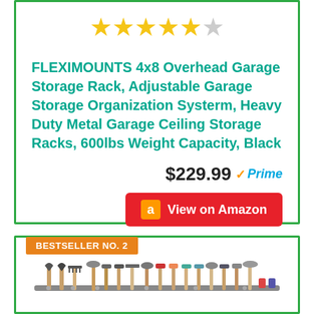[Figure (other): 4.5 star rating shown with golden star icons]
FLEXIMOUNTS 4x8 Overhead Garage Storage Rack, Adjustable Garage Storage Organization Systerm, Heavy Duty Metal Garage Ceiling Storage Racks, 600lbs Weight Capacity, Black
$229.99 ✓Prime
View on Amazon
BESTSELLER NO. 2
[Figure (photo): Wall-mounted tool rack holding shovels, rakes, brooms, and various garden tools arranged neatly]